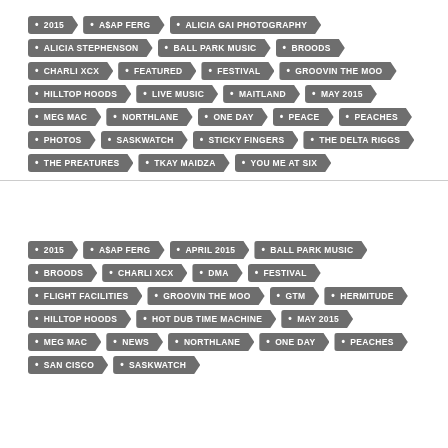2015, A$AP FERG, ALICIA GAI PHOTOGRAPHY, ALICIA STEPHENSON, BALL PARK MUSIC, BROODS, CHARLI XCX, FEATURED, FESTIVAL, GROOVIN THE MOO, HILLTOP HOODS, LIVE MUSIC, MAITLAND, MAY 2015, MEG MAC, NORTHLANE, ONE DAY, PEACE, PEACHES, PHOTOS, SASKWATCH, STICKY FINGERS, THE DELTA RIGGS, THE PREATURES, TKAY MAIDZA, YOU ME AT SIX
2015, A$AP FERG, APRIL 2015, BALL PARK MUSIC, BROODS, CHARLI XCX, DMA, FESTIVAL, FLIGHT FACILITIES, GROOVIN THE MOO, GTM, HERMITUDE, HILLTOP HOODS, HOT DUB TIME MACHINE, MAY 2015, MEG MAC, NEWS, NORTHLANE, ONE DAY, PEACHES, SAN CISCO, SASKWATCH